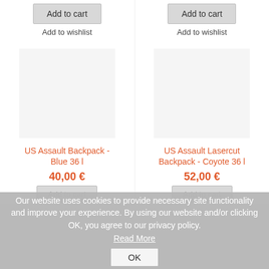[Figure (screenshot): Product listing showing two backpacks with Add to cart and Add to wishlist buttons, names, and prices]
Add to cart
Add to wishlist
Add to cart
Add to wishlist
US Assault Backpack - Blue 36 l
40,00 €
US Assault Lasercut Backpack - Coyote 36 l
52,00 €
Add to cart
Add to cart
Our website uses cookies to provide necessary site functionality and improve your experience. By using our website and/or clicking OK, you agree to our privacy policy.
Read More
OK